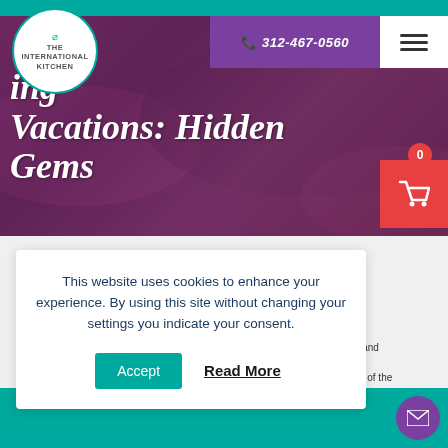[Figure (screenshot): Website screenshot of The International Kitchen cooking vacations page. Shows teal/purple branding with hero image, navigation bar with phone number 312-467-0560, logo circle, hamburger menu, and a cookie consent popup overlay.]
THE INTERNATIONAL KITCHEN | 312-467-0560
Vacations: Hidden Gems
This website uses cookies to enhance your experience. By using this site without changing your settings you indicate your consent.
Accept  Read More
food and The some of the